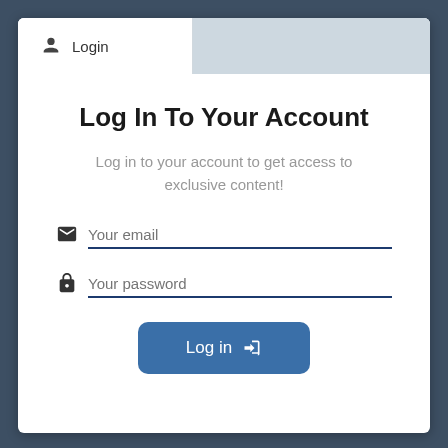Login
Log In To Your Account
Log in to your account to get access to exclusive content!
Your email
Your password
Log in →